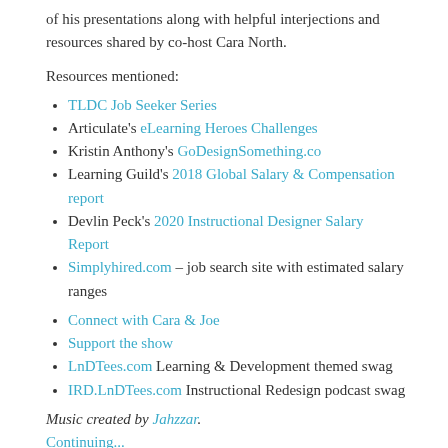of his presentations along with helpful interjections and resources shared by co-host Cara North.
Resources mentioned:
TLDC Job Seeker Series
Articulate's eLearning Heroes Challenges
Kristin Anthony's GoDesignSomething.co
Learning Guild's 2018 Global Salary & Compensation report
Devlin Peck's 2020 Instructional Designer Salary Report
Simplyhired.com – job search site with estimated salary ranges
Connect with Cara & Joe
Support the show
LnDTees.com Learning & Development themed swag
IRD.LnDTees.com Instructional Redesign podcast swag
Music created by Jahzzar.
Continuing...